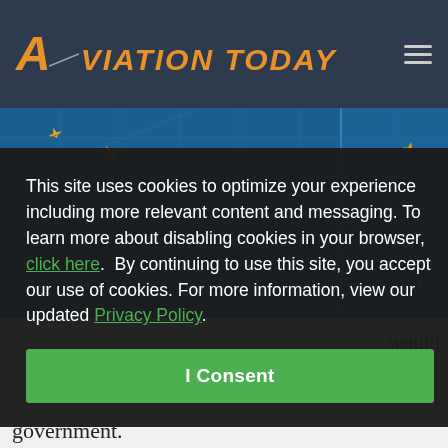AVIATION TODAY
[Figure (illustration): Blue aviation map background with yellow airplane silhouettes scattered across the image, split into two panels with a vertical divider.]
This site uses cookies to optimize your experience including more relevant content and messaging. To learn more about disabling cookies in your browser, click here.  By continuing to use this site, you accept our use of cookies. For more information, view our updated Privacy Policy.
I Consent
would
government.